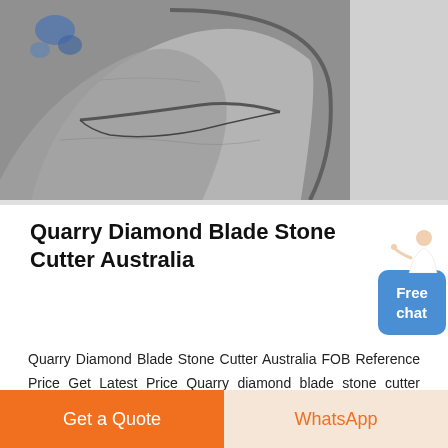[Figure (photo): Close-up photo of large stone/rock slabs with diamond blade cuts visible, grey stone texture with some blue paint visible on metal frame behind]
Quarry Diamond Blade Stone Cutter Australia
Quarry Diamond Blade Stone Cutter Australia FOB Reference Price Get Latest Price Quarry diamond blade stone cutter australia What is the stone cutting segment diamondbladeorg 2 Good cutting effect stable cutting smooth cutting surface and the sie is stable 3 Small cutting noise small stone cutting gap to make the use of stone and the thickness of the maximum Single
Get a Quote
WhatsApp